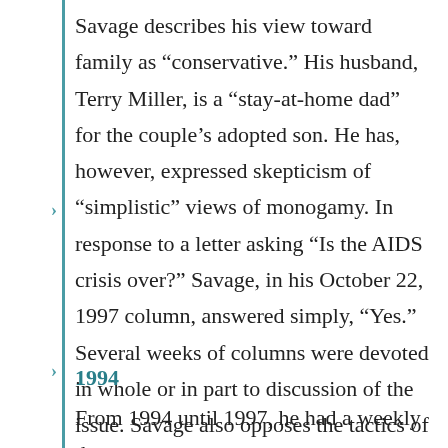Savage describes his view toward family as “conservative.” His husband, Terry Miller, is a “stay-at-home dad” for the couple’s adopted son. He has, however, expressed skepticism of “simplistic” views of monogamy. In response to a letter asking “Is the AIDS crisis over?” Savage, in his October 22, 1997 column, answered simply, “Yes.” Several weeks of columns were devoted in whole or in part to discussion of the issue. Savage also opposes the tactics of the War on Drugs, and opposes the prohibition of certain controlled substances.
1994
From 1994 until 1997, he had a weekly three-